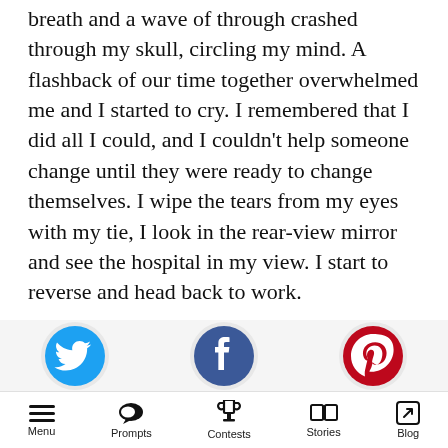breath and a wave of through crashed through my skull, circling my mind. A flashback of our time together overwhelmed me and I started to cry. I remembered that I did all I could, and I couldn't help someone change until they were ready to change themselves. I wipe the tears from my eyes with my tie, I look in the rear-view mirror and see the hospital in my view. I start to reverse and head back to work.
“Today is the day I change”...
[Figure (other): App navigation bar with social media icons (Twitter, Facebook, Pinterest/other) above and bottom navigation with Menu, Prompts, Contests, Stories, Blog icons]